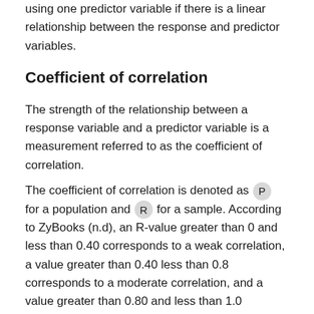using one predictor variable if there is a linear relationship between the response and predictor variables.
Coefficient of correlation
The strength of the relationship between a response variable and a predictor variable is a measurement referred to as the coefficient of correlation.
The coefficient of correlation is denoted as P for a population and R for a sample. According to ZyBooks (n.d), an R-value greater than 0 and less than 0.40 corresponds to a weak correlation, a value greater than 0.40 less than 0.8 corresponds to a moderate correlation, and a value greater than 0.80 and less than 1.0 corresponds to a strong correlation.
Additionally, if one variable increases and the